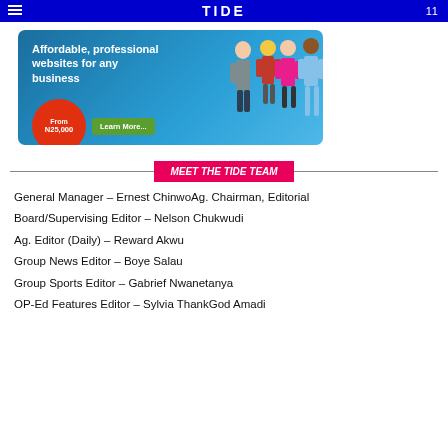TIDE
[Figure (photo): Advertisement banner: Affordable, professional websites for any business. From N25,000. Learn More button. Shows group of professionals.]
MEET THE TIDE TEAM
General Manager – Ernest ChinwoAg. Chairman, Editorial
Board/Supervising Editor – Nelson Chukwudi
Ag. Editor (Daily) – Reward Akwu
Group News Editor – Boye Salau
Group Sports Editor – Gabrief Nwanetanya
OP-Ed Features Editor – Sylvia ThankGod Amadi